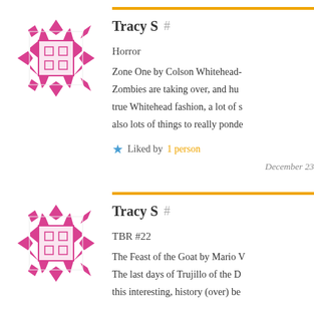[Figure (illustration): Pink decorative avatar icon with diamond and square geometric pattern]
Tracy S  #
Horror
Zone One by Colson Whitehead-
Zombies are taking over, and hu
true Whitehead fashion, a lot of s
also lots of things to really ponde
★ Liked by 1 person
December 23
[Figure (illustration): Pink decorative avatar icon with diamond and square geometric pattern]
Tracy S  #
TBR #22
The Feast of the Goat by Mario V
The last days of Trujillo of the D
this interesting, history (over) be